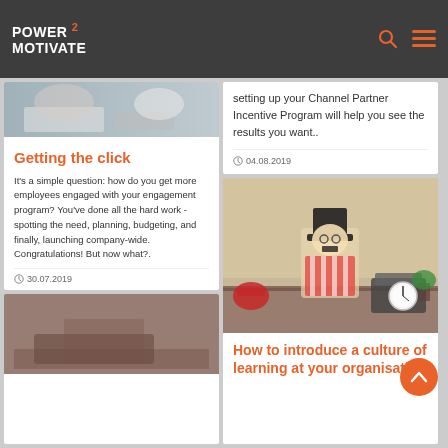POWER 2 MOTIVATE
[Figure (photo): Office workers at a desk, partial view at top of left card]
Getting the click
It's a simple question: how do you get more employees engaged with your engagement program? You’ve done all the hard work - spotting the need, planning, budgeting, and finally, launching company-wide. Congratulations! But now what?.
30.07.2019
[Figure (photo): Bottom of page: partial photo of laptop/desk scene]
setting up your Channel Partner Incentive Program will help you see the results you want..
04.08.2019
[Figure (photo): Child dressed as business person/magician sitting at vintage desk with typewriter, red telephone, and clock]
How to introduce a culture of learning at your organisation